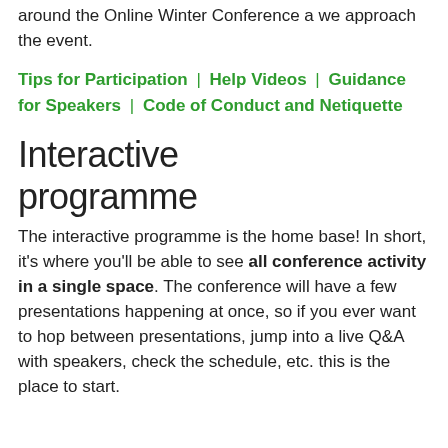around the Online Winter Conference a we approach the event.
Tips for Participation  |  Help Videos  |  Guidance for Speakers  |  Code of Conduct and Netiquette
Interactive programme
The interactive programme is the home base! In short, it's where you'll be able to see all conference activity in a single space. The conference will have a few presentations happening at once, so if you ever want to hop between presentations, jump into a live Q&A with speakers, check the schedule, etc. this is the place to start.